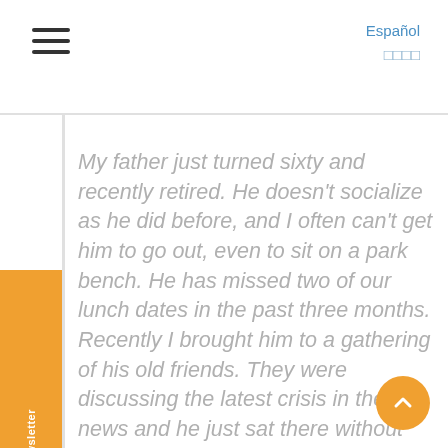Español
□□□□
Subscribe to Our Newsletter
My father just turned sixty and recently retired. He doesn’t socialize as he did before, and I often can’t get him to go out, even to sit on a park bench. He has missed two of our lunch dates in the past three months. Recently I brought him to a gathering of his old friends. They were discussing the latest crisis in the news and he just sat there without saying anything. Afterward, he told me that he didn’t know what they had been talking about. What could be the cause of